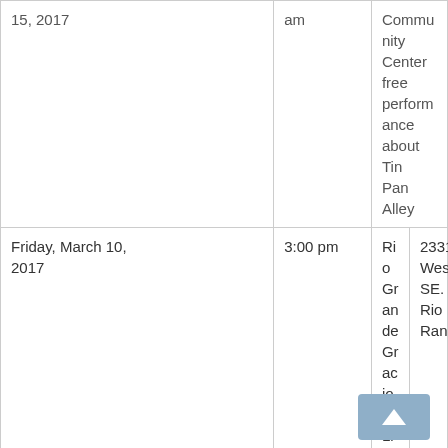| Date | Time | Venue | Address |
| --- | --- | --- | --- |
| [15, 2017] | am | Community Center free performance about Tin Pan Alley |  |
| Friday, March 10, 2017 | 3:00 pm | Rio Grande Gracious Living | 2331 Westside, SE. Rio Rancho |
| Friday, March 3, 2017 | 2:00 pm | Camino Retirement | 2101 Lomas NE, NE |
| Friday, February 17, 2017 | 3 pm | Senior Star at Las Colinas | 500 Paisano, NE |